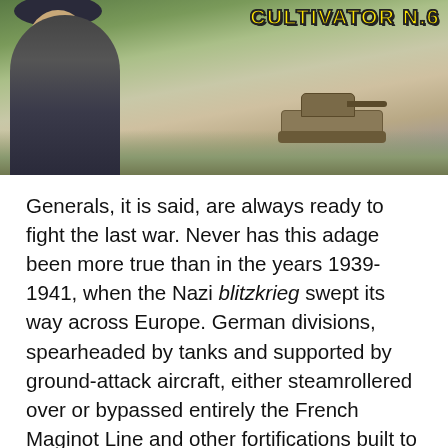[Figure (illustration): Illustrated image showing a figure resembling Winston Churchill in foreground wearing a dark suit and bowler hat, with a military tank scene in the background and the text 'CULTIVATOR N.6' in yellow with dark outline at top right.]
Generals, it is said, are always ready to fight the last war. Never has this adage been more true than in the years 1939-1941, when the Nazi blitzkrieg swept its way across Europe. German divisions, spearheaded by tanks and supported by ground-attack aircraft, either steamrollered over or bypassed entirely the French Maginot Line and other fortifications built to keep them out, rendering thirty years of military thought and planning obsolete overnight. Yet despite this rude awakening, many remained firmly wedded to old ways of thinking. Among these was British Prime Minister